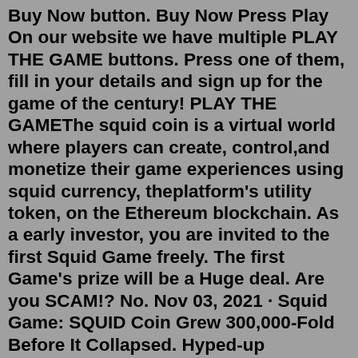Buy Now button. Buy Now Press Play On our website we have multiple PLAY THE GAME buttons. Press one of them, fill in your details and sign up for the game of the century! PLAY THE GAMEThe squid coin is a virtual world where players can create, control,and monetize their game experiences using squid currency, theplatform's utility token, on the Ethereum blockchain. As a early investor, you are invited to the first Squid Game freely. The first Game's prize will be a Huge deal. Are you SCAM!? No. Nov 03, 2021 · Squid Game: SQUID Coin Grew 300,000-Fold Before It Collapsed. Hyped-up instruments act as a magnet for rookie investors who want to make a fortune with a single trade. This time, the scammers have used the popular Netflix serial Squid Game by launching the SQUID coin and using attributes of the TV show. The bad actors also retweeted some tweets ... Squid doge coin is a new crypto coin birthed by community which inspired by Squid Game and Elon Musk. He is hyper-deflationary